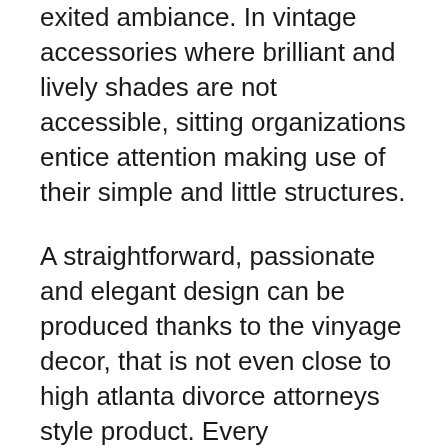exited ambiance. In vintage accessories where brilliant and lively shades are not accessible, sitting organizations entice attention making use of their simple and little structures.
A straightforward, passionate and elegant design can be produced thanks to the vinyage decor, that is not even close to high atlanta divorce attorneys style product. Every homeowner can produce this design model with old items. It’s probable to obtain a brand new look with the right utilization of old items and adapting them to today. You will find fundamental facts that homeowners who will utilize this model within their homes must give consideration to.
These facts, which change for every single room, are of great significance for making a healthy vintage style. It will perhaps not be neglected that